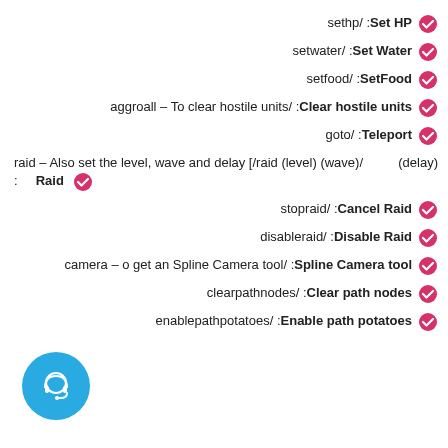sethp/ :Set HP ✓
setwater/ :Set Water ✓
setfood/ :SetFood ✓
aggroall – To clear hostile units/ :Clear hostile units ✓
goto/ :Teleport ✓
raid – Also set the level, wave and delay [/raid (level) (wave)/ :     Raid (delay) ✓
stopraid/ :Cancel Raid ✓
disableraid/ :Disable Raid ✓
camera – o get an Spline Camera tool/ :Spline Camera tool ✓
clearpathnodes/ :Clear path nodes ✓
enablepathpotatoes/ :Enable path potatoes ✓
[Figure (illustration): Blue circular support/headset button in bottom left corner]